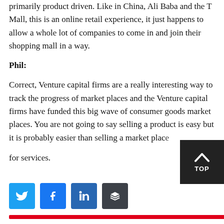primarily product driven. Like in China, Ali Baba and the T Mall, this is an online retail experience, it just happens to allow a whole lot of companies to come in and join their shopping mall in a way.
Phil:
Correct, Venture capital firms are a really interesting way to track the progress of market places and the Venture capital firms have funded this big wave of consumer goods market places. You are not going to say selling a product is easy but it is probably easier than selling a market place for services.
[Figure (infographic): Social sharing buttons: Twitter (blue), Facebook (blue), LinkedIn (blue), Buffer (dark grey). Below is a red horizontal bar.]